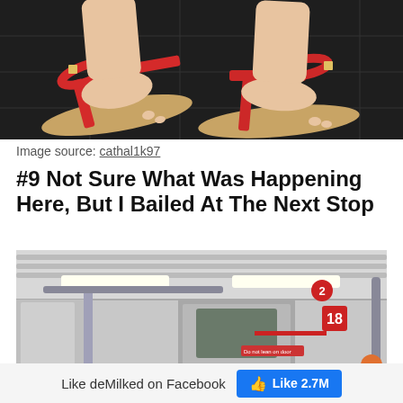[Figure (photo): Close-up photo of feet wearing red sandals on a dark tiled floor, likely a subway station floor]
Image source: cathal1k97
#9 Not Sure What Was Happening Here, But I Bailed At The Next Stop
[Figure (photo): Interior of a New York subway car, view of ceiling and doors with route number signs showing '2' and '18']
Like deMilked on Facebook  Like 2.7M